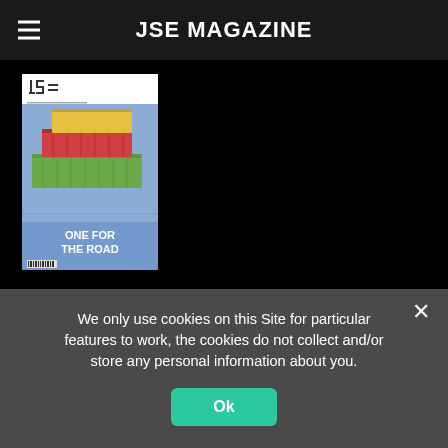JSE MAGAZINE
[Figure (photo): JSE Magazine cover titled 'ONE FOR THE ROAD' featuring stacked shipping containers on a blue background]
[Figure (photo): JSE Magazine cover titled 'SMELLING A RAT' featuring computer mice modified as insects on a teal background]
We only use cookies on this Site for particular features to work, the cookies do not collect and/or store any personal information about you.